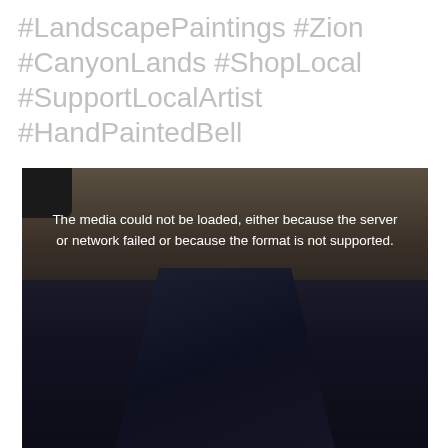#LandscapePaintings #Zion #CanyonLands #ShopLocal #SupportLocalArtist #HandPaintedBell
[Figure (photo): A dark, partially loaded media player showing a video that failed to load. The background shows a dark scene with some brown/tan tones in the upper portion and dark navy/black tones in the lower portion suggesting a landscape or painting. An error message reads: 'The media could not be loaded, either because the server or network failed or because the format is not supported.' A small black element is visible in the upper-left corner.]